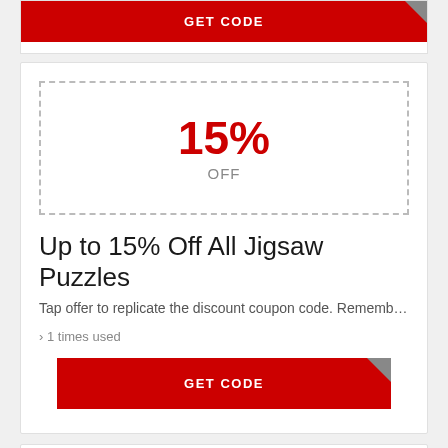[Figure (infographic): Partial coupon card at top showing a red GET CODE button with grey corner fold]
[Figure (infographic): Coupon card showing 15% OFF discount in dashed box, title 'Up to 15% Off All Jigsaw Puzzles', description text, usage count, and GET CODE button]
15%
OFF
Up to 15% Off All Jigsaw Puzzles
Tap offer to replicate the discount coupon code. Rememb…
› 1 times used
[Figure (infographic): Partial coupon card at bottom showing dashed box with $5 discount amount]